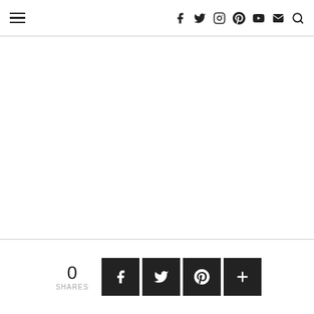☰ f t instagram pinterest youtube mail search
0 SHARES — share buttons: Facebook, Twitter, Pinterest, Plus